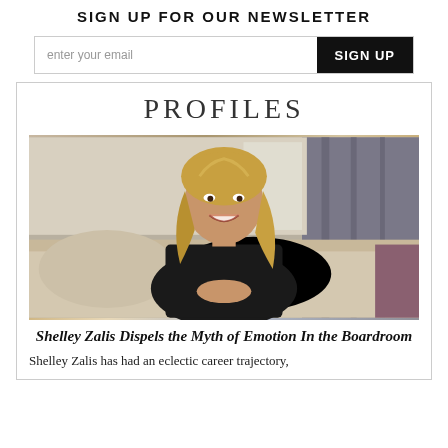SIGN UP FOR OUR NEWSLETTER
enter your email   SIGN UP
PROFILES
[Figure (photo): Woman with blonde hair sitting on a sofa, wearing a black sleeveless outfit and a gold watch, smiling at the camera]
Shelley Zalis Dispels the Myth of Emotion In the Boardroom
Shelley Zalis has had an eclectic career trajectory,